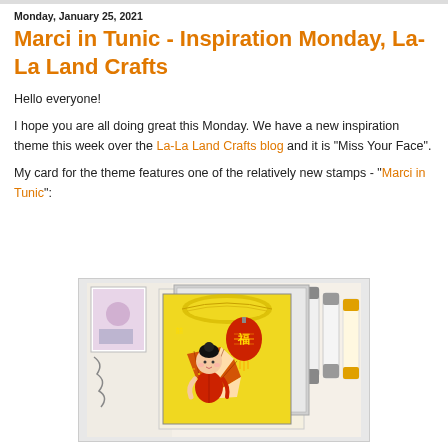Monday, January 25, 2021
Marci in Tunic - Inspiration Monday, La-La Land Crafts
Hello everyone!
I hope you are all doing great this Monday. We have a new inspiration theme this week over the La-La Land Crafts blog and it is "Miss Your Face".
My card for the theme features one of the relatively new stamps - "Marci in Tunic":
[Figure (photo): A handmade card featuring Marci in Tunic stamp, with Japanese/Asian themed design in yellow, red and black colors, surrounded by craft supplies including Copic markers]